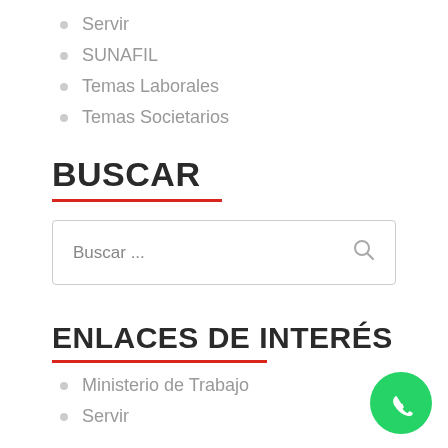Servir
SUNAFIL
Temas Laborales
Temas Societarios
BUSCAR
Buscar ...
ENLACES DE INTERÉS
Ministerio de Trabajo
Servir
[Figure (logo): WhatsApp green circular button with phone handset icon]